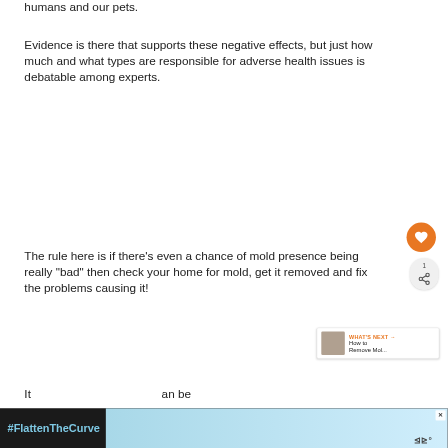humans and our pets.
Evidence is there that supports these negative effects, but just how much and what types are responsible for adverse health issues is debatable among experts.
The rule here is if there's even a chance of mold presence being really "bad" then check your home for mold, get it removed and fix the problems causing it!
It can be